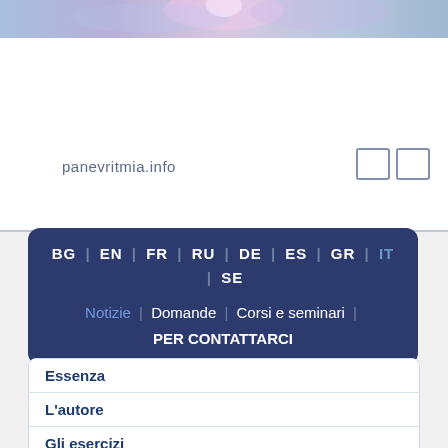[Figure (photo): Partial view of a galaxy/space image at the top of the page]
panevritmia.info
[Figure (other): Two small icon/navigation boxes in the top right of the white area]
BG | EN | FR | RU | DE | ES | GR | IT | SE
Notizie | Domande | Corsi e seminari | PER CONTATTARCI
Essenza
L'autore
Gli esercizi
Testimonianze